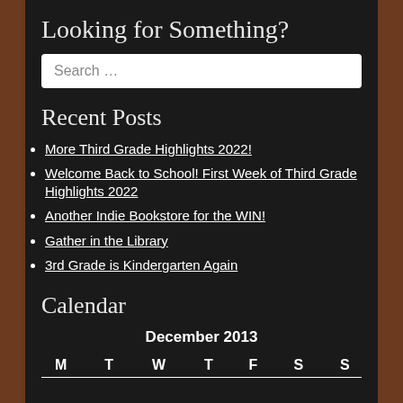Looking for Something?
[Figure (screenshot): Search input box with placeholder text 'Search ...']
Recent Posts
More Third Grade Highlights 2022!
Welcome Back to School! First Week of Third Grade Highlights 2022
Another Indie Bookstore for the WIN!
Gather in the Library
3rd Grade is Kindergarten Again
Calendar
| M | T | W | T | F | S | S |
| --- | --- | --- | --- | --- | --- | --- |